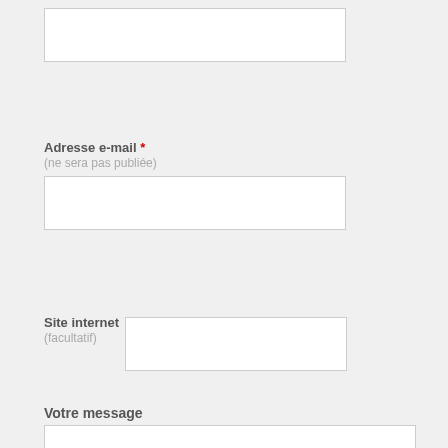[Figure (other): Empty text input field (first field, likely Name)]
Adresse e-mail * (ne sera pas publiée)
[Figure (other): Empty text input field for email address]
Site internet (facultatif)
[Figure (other): Empty text input field for website URL]
Votre message
[Figure (other): Empty textarea for message input]